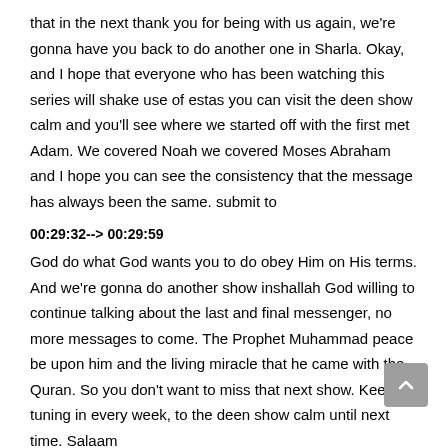that in the next thank you for being with us again, we're gonna have you back to do another one in Sharla. Okay, and I hope that everyone who has been watching this series will shake use of estas you can visit the deen show calm and you'll see where we started off with the first met Adam. We covered Noah we covered Moses Abraham and I hope you can see the consistency that the message has always been the same. submit to
00:29:32--> 00:29:59
God do what God wants you to do obey Him on His terms. And we're gonna do another show inshallah God willing to continue talking about the last and final messenger, no more messages to come. The Prophet Muhammad peace be upon him and the living miracle that he came with the Quran. So you don't want to miss that next show. Keep tuning in every week, to the deen show calm until next time. Salaam